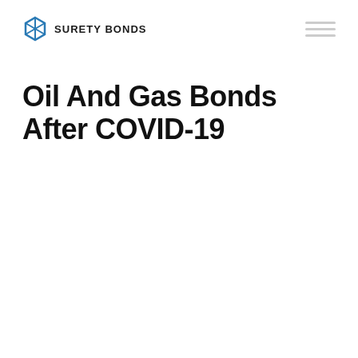SURETY BONDS
Oil And Gas Bonds After COVID-19